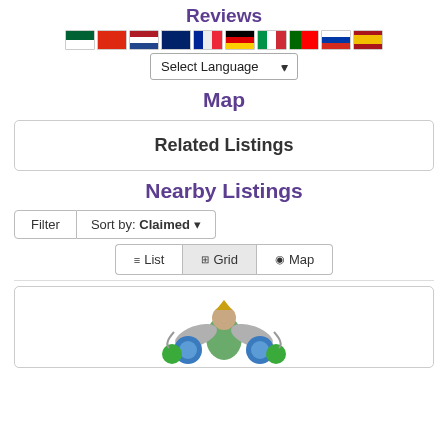Reviews
[Figure (illustration): Row of country flag icons: Arabic, Chinese, Dutch, British, French, German, Italian, Portuguese, Russian, Spanish]
Select Language ▾
Map
Related Listings
Nearby Listings
Filter  Sort by: Claimed ▾
≡ List   ⊞ Grid   ◉ Map
[Figure (logo): Partial logo/emblem with winged figure and green decorative elements at the bottom of the page]